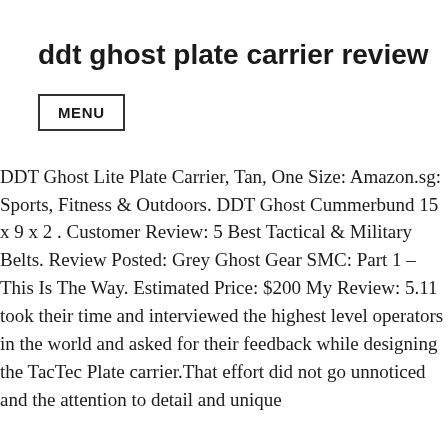ddt ghost plate carrier review
MENU
DDT Ghost Lite Plate Carrier, Tan, One Size: Amazon.sg: Sports, Fitness & Outdoors. DDT Ghost Cummerbund 15 x 9 x 2 . Customer Review: 5 Best Tactical & Military Belts. Review Posted: Grey Ghost Gear SMC: Part 1 – This Is The Way. Estimated Price: $200 My Review: 5.11 took their time and interviewed the highest level operators in the world and asked for their feedback while designing the TacTec Plate carrier.That effort did not go unnoticed and the attention to detail and unique